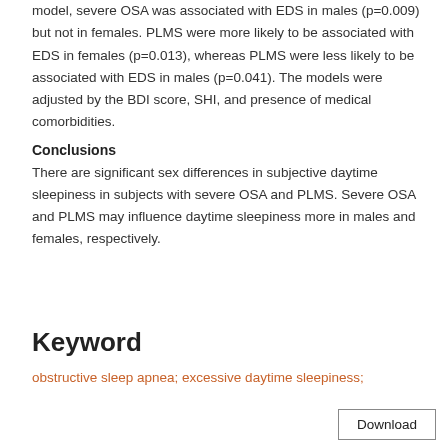model, severe OSA was associated with EDS in males (p=0.009) but not in females. PLMS were more likely to be associated with EDS in females (p=0.013), whereas PLMS were less likely to be associated with EDS in males (p=0.041). The models were adjusted by the BDI score, SHI, and presence of medical comorbidities.
Conclusions
There are significant sex differences in subjective daytime sleepiness in subjects with severe OSA and PLMS. Severe OSA and PLMS may influence daytime sleepiness more in males and females, respectively.
Keyword
obstructive sleep apnea; excessive daytime sleepiness;